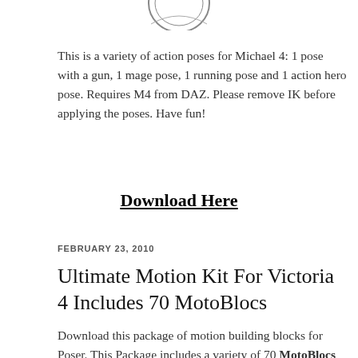[Figure (logo): Partial circular logo/seal graphic at top of page]
This is a variety of action poses for Michael 4: 1 pose with a gun, 1 mage pose, 1 running pose and 1 action hero pose. Requires M4 from DAZ. Please remove IK before applying the poses. Have fun!
Download Here
FEBRUARY 23, 2010
Ultimate Motion Kit For Victoria 4 Includes 70 MotoBlocs
Download this package of motion building blocks for Poser. This Package includes a variety of 70 MotoBlocs (or 2 animated dance files) that will enhance your animation